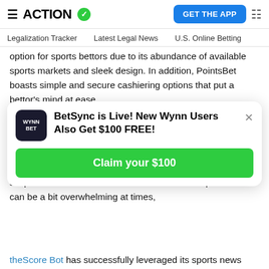ACTION
Legalization Tracker   Latest Legal News   U.S. Online Betting
option for sports bettors due to its abundance of available sports markets and sleek design. In addition, PointsBet boasts simple and secure cashiering options that put a bettor's mind at ease.
Unibet
Unibet is another popular sportsbook throughout Europe that will be made available to Ontario bettors to enjoy. Much of the success of Unibet sportsbook can be chalked up to a simple and reliable user interface. While other sportsbooks can be a bit overwhelming at times,
[Figure (other): Promotional popup: BetSync is Live! New Wynn Users Also Get $100 FREE! with a green Claim your $100 button and WynnBet logo]
theScore Bot has successfully leveraged its sports news